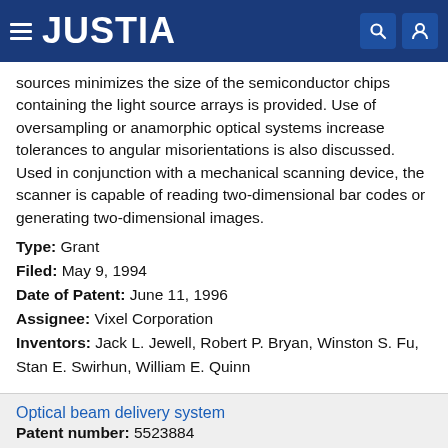JUSTIA
sources minimizes the size of the semiconductor chips containing the light source arrays is provided. Use of oversampling or anamorphic optical systems increase tolerances to angular misorientations is also discussed. Used in conjunction with a mechanical scanning device, the scanner is capable of reading two-dimensional bar codes or generating two-dimensional images.
Type: Grant
Filed: May 9, 1994
Date of Patent: June 11, 1996
Assignee: Vixel Corporation
Inventors: Jack L. Jewell, Robert P. Bryan, Winston S. Fu, Stan E. Swirhun, William E. Quinn
Optical beam delivery system
Patent number: 5523884